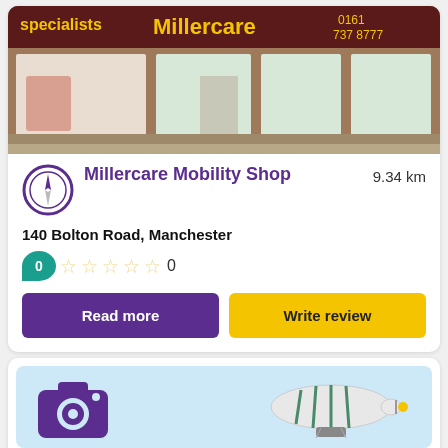[Figure (photo): Exterior photo of Millercare Mobility Shop storefront with purple/maroon signage showing 'Millercare' in yellow text and phone number 0161 737 8777]
Millercare Mobility Shop
9.34 km
140 Bolton Road, Manchester
0 (rating) 0 reviews, 5 empty stars
Read more
Write review
[Figure (illustration): Second card with light blue background showing a purple camera icon on the left and a blimp/airship illustration on the right]